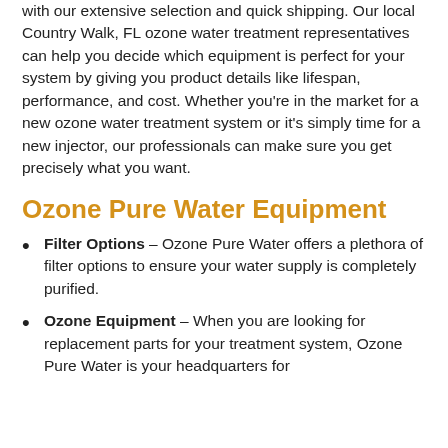with our extensive selection and quick shipping. Our local Country Walk, FL ozone water treatment representatives can help you decide which equipment is perfect for your system by giving you product details like lifespan, performance, and cost. Whether you're in the market for a new ozone water treatment system or it's simply time for a new injector, our professionals can make sure you get precisely what you want.
Ozone Pure Water Equipment
Filter Options – Ozone Pure Water offers a plethora of filter options to ensure your water supply is completely purified.
Ozone Equipment – When you are looking for replacement parts for your treatment system, Ozone Pure Water is your headquarters for